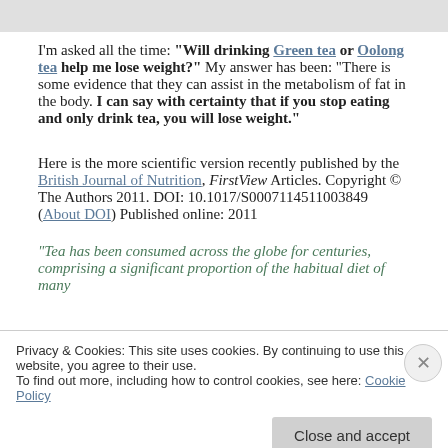I'm asked all the time: "Will drinking Green tea or Oolong tea help me lose weight?" My answer has been: "There is some evidence that they can assist in the metabolism of fat in the body. I can say with certainty that if you stop eating and only drink tea, you will lose weight."
Here is the more scientific version recently published by the British Journal of Nutrition, FirstView Articles. Copyright © The Authors 2011. DOI: 10.1017/S0007114511003849 (About DOI) Published online: 2011
"Tea has been consumed across the globe for centuries, comprising a significant proportion of the habitual diet of many
Privacy & Cookies: This site uses cookies. By continuing to use this website, you agree to their use.
To find out more, including how to control cookies, see here: Cookie Policy
Close and accept